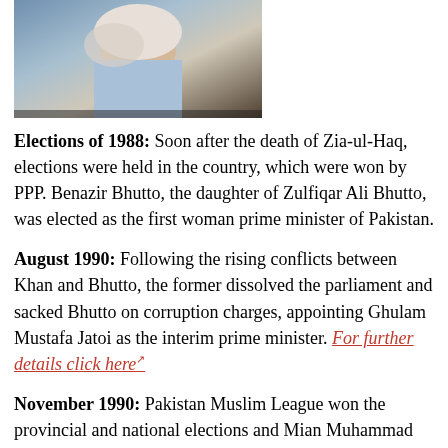[Figure (photo): Photo of a woman (Benazir Bhutto) in a light blue outfit with a white head covering, seated at what appears to be a desk or table.]
Elections of 1988: Soon after the death of Zia-ul-Haq, elections were held in the country, which were won by PPP. Benazir Bhutto, the daughter of Zulfiqar Ali Bhutto, was elected as the first woman prime minister of Pakistan.
August 1990: Following the rising conflicts between Khan and Bhutto, the former dissolved the parliament and sacked Bhutto on corruption charges, appointing Ghulam Mustafa Jatoi as the interim prime minister. For further details click here
November 1990: Pakistan Muslim League won the provincial and national elections and Mian Muhammad Nawaz Sharif was elected as the prime minister.
[Figure (photo): Photo of a man (Nawaz Sharif) in a dark setting, partially visible, appearing to gesture with his hand.]